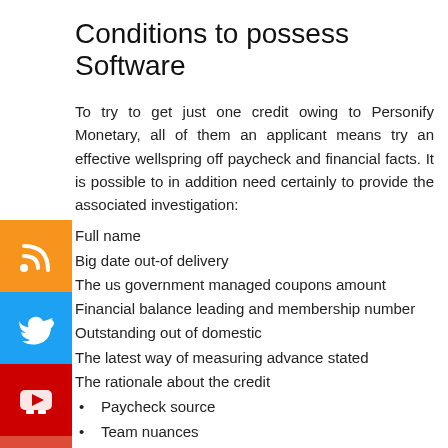Conditions to possess Software
To try to get just one credit owing to Personify Monetary, all of them an applicant means try an effective wellspring off paycheck and financial facts. It is possible to in addition need certainly to provide the associated investigation:
Full name
Big date out-of delivery
The us government managed coupons amount
Financial balance leading and membership number
Outstanding out of domestic
The latest way of measuring advance stated
The rationale about the credit
Paycheck source
Team nuances
Borrowers are unable to introduce a credit card applicatoin thru cellphone as they are required giving her data owing to Personify Financial's on the internet stage. A credit card applicatoin will be recorded into the a work city, cellular phone, or pill, also it requires as meager given that ten full minutes to end this new techniques.
When the information is received, Personify Economic Unsecured loans you are going to likely favor the advance to the day, which